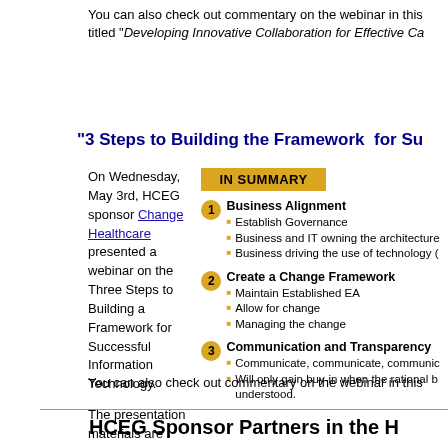You can also check out commentary on the webinar in this titled "Developing Innovative Collaboration for Effective Ca
"3 Steps to Building the Framework for Su
On Wednesday, May 3rd, HCEG sponsor Change Healthcare presented a webinar on the Three Steps to Building a Framework for Successful Information Technology.

The presentation materials are available here along with a recording of the webinar.
[Figure (infographic): IN SUMMARY box with 3 numbered steps: 1. Business Alignment (Establish Governance, Business and IT owning the architecture, Business driving the use of technology), 2. Create a Change Framework (Maintain Established EA, Allow for change, Managing the change), 3. Communication and Transparency (Communicate communicate communic..., Will only gain buy-in when the rational b... understood.)]
You can also check out commentary on the webinar in this
HCEG Sponsor Partners in the H